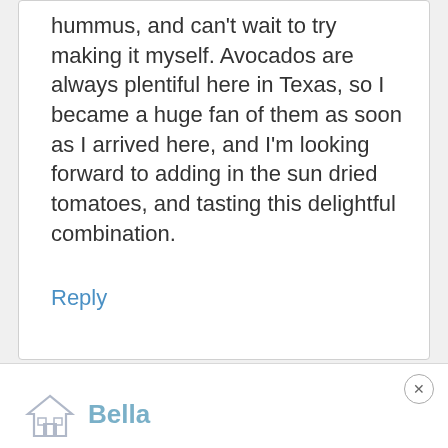hummus, and can't wait to try making it myself. Avocados are always plentiful here in Texas, so I became a huge fan of them as soon as I arrived here, and I'm looking forward to adding in the sun dried tomatoes, and tasting this delightful combination.
Reply
[Figure (logo): House/building icon in grey outline style]
Bella